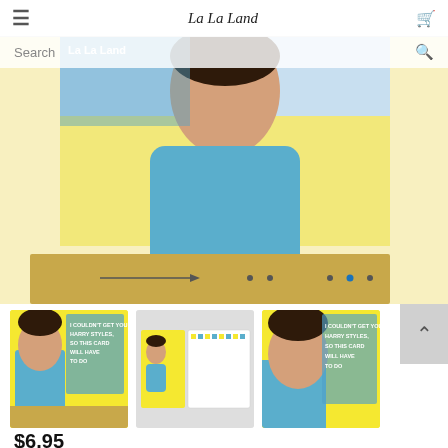≡  La La Land  🛒
[Figure (screenshot): Main product image showing a greeting card with illustrated person in blue shirt on yellow background, with cardboard backing. Slide carousel with navigation dots.]
[Figure (photo): Three product thumbnail images: 1) Front of card with text 'I couldn't get you Harry Styles, so this card will have to do' on yellow background with illustrated person; 2) Inside of open card showing blank white interior and small figure; 3) Closer view of front of card same text and illustration.]
Greeting Card Harry Harry
Chelsea Hammond
$6.95
14 x 14 cm greeting card with illustrations inside and out. Includes a